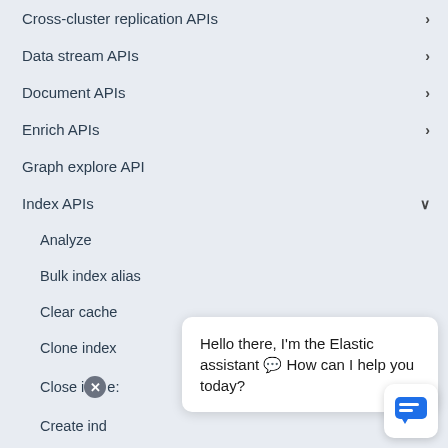Cross-cluster replication APIs
Data stream APIs
Document APIs
Enrich APIs
Graph explore API
Index APIs
Analyze
Bulk index alias
Clear cache
Clone index
Close index
Create index
Create or update component template
Hello there, I'm the Elastic assistant 💬 How can I help you today?